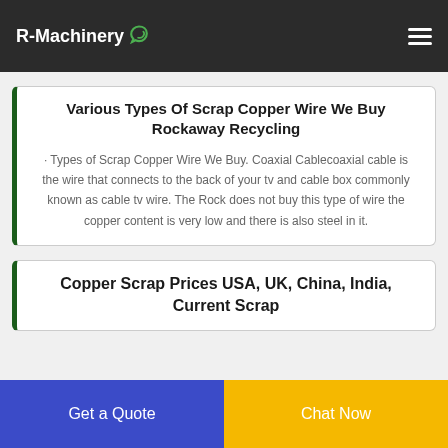R-Machinery
Various Types Of Scrap Copper Wire We BuyRockaway Recycling
· Types of Scrap Copper Wire We Buy. Coaxial Cablecoaxial cable is the wire that connects to the back of your tv and cable box commonly known as cable tv wire. The Rock does not buy this type of wire the copper content is very low and there is also steel in it.
Copper Scrap Prices USA, UK, China, India, Current Scrap